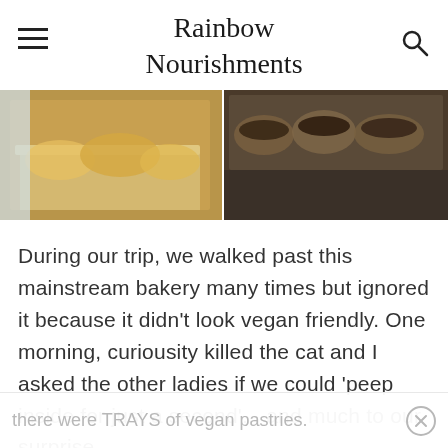Rainbow Nourishments
[Figure (photo): Two food photos side by side: left shows golden pastries/crepes on a baking tray, right shows chocolate-glazed pastries in a display tray]
During our trip, we walked past this mainstream bakery many times but ignored it because it didn't look vegan friendly. One morning, curiousity killed the cat and I asked the other ladies if we could 'peep inside for just a second'... and much to our surprise,
there were TRAYS of vegan pastries.